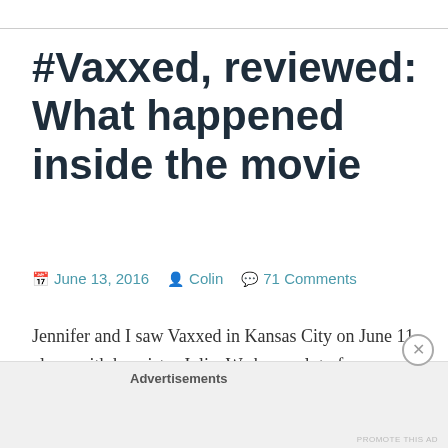#Vaxxed, reviewed: What happened inside the movie
📅 June 13, 2016   👤 Colin   💬 71 Comments
Jennifer and I saw Vaxxed in Kansas City on June 11, along with her sister Julie. We have a lot of observations and thoughts about the movie, so we'll probably be doing several articles discussing the film itself, the audience's
Advertisements